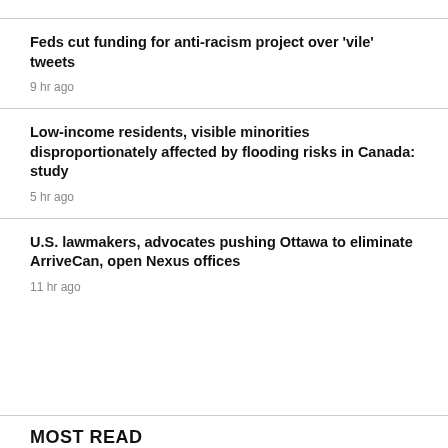Feds cut funding for anti-racism project over 'vile' tweets
9 hr ago
Low-income residents, visible minorities disproportionately affected by flooding risks in Canada: study
5 hr ago
U.S. lawmakers, advocates pushing Ottawa to eliminate ArriveCan, open Nexus offices
11 hr ago
MOST READ